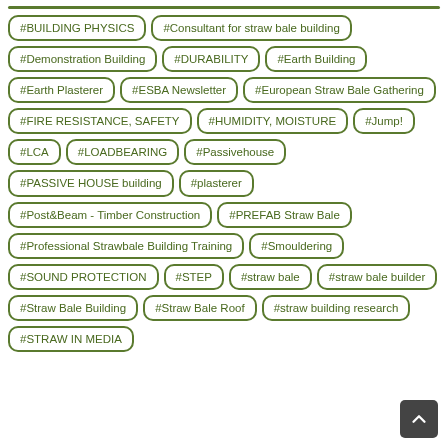#BUILDING PHYSICS
#Consultant for straw bale building
#Demonstration Building
#DURABILITY
#Earth Building
#Earth Plasterer
#ESBA Newsletter
#European Straw Bale Gathering
#FIRE RESISTANCE, SAFETY
#HUMIDITY, MOISTURE
#Jump!
#LCA
#LOADBEARING
#Passivehouse
#PASSIVE HOUSE building
#plasterer
#Post&Beam - Timber Construction
#PREFAB Straw Bale
#Professional Strawbale Building Training
#Smouldering
#SOUND PROTECTION
#STEP
#straw bale
#straw bale builder
#Straw Bale Building
#Straw Bale Roof
#straw building research
#STRAW IN MEDIA